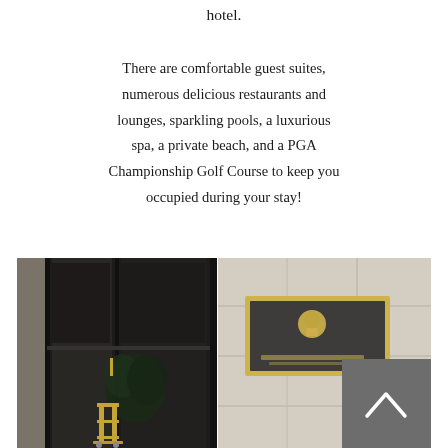hotel.
There are comfortable guest suites, numerous delicious restaurants and lounges, sparkling pools, a luxurious spa, a private beach, and a PGA Championship Golf Course to keep you occupied during your stay!
[Figure (photo): Two-panel photo showing the entrance of The Ritz-Carlton hotel: left panel shows dark glass door entrance with gold luggage cart and tropical plant, right panel shows The Ritz-Carlton brass plaque with lion crest on a stone wall.]